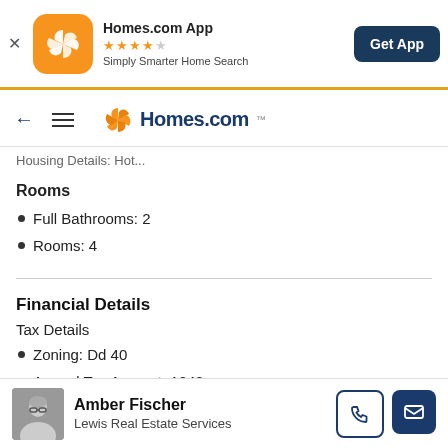[Figure (screenshot): Homes.com app banner with orange icon, 4.5 star rating, tagline, and Get App button]
[Figure (logo): Homes.com navigation bar with back arrow, hamburger menu, and Homes.com logo]
Housing Details: Hot...
Rooms
Full Bathrooms: 2
Rooms: 4
Financial Details
Tax Details
Zoning: Dd 40
Annual Tax Amount: 1040
Amber Fischer
Lewis Real Estate Services